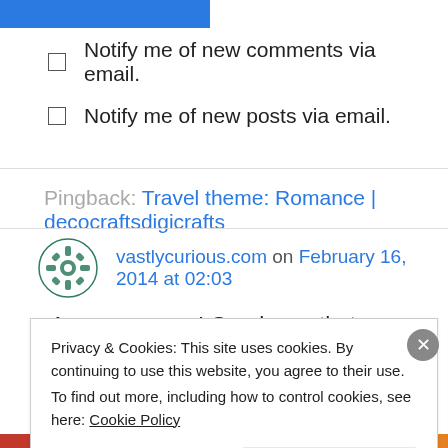[Figure (other): Blue button/bar at top left]
Notify me of new comments via email.
Notify me of new posts via email.
Pingback: Travel theme: Romance | decocraftsdigicrafts
vastlycurious.com on February 16, 2014 at 02:03
Awwwwwwww ! Good man that you are !
Privacy & Cookies: This site uses cookies. By continuing to use this website, you agree to their use. To find out more, including how to control cookies, see here: Cookie Policy
Close and accept